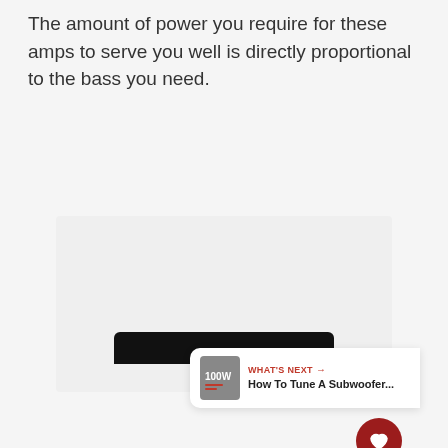The amount of power you require for these amps to serve you well is directly proportional to the bass you need.
[Figure (photo): Large gray placeholder image area with three gray dots in center indicating loading or carousel, partial product image visible at bottom (dark rectangular device), with UI overlay elements: red heart/like button, share button, count bubble showing 2, and a 'What's Next' card showing 'How To Tune A Subwoofer...']